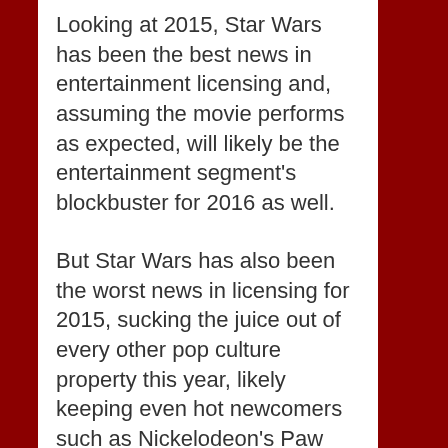Looking at 2015, Star Wars has been the best news in entertainment licensing and, assuming the movie performs as expected, will likely be the entertainment segment's blockbuster for 2016 as well.
But Star Wars has also been the worst news in licensing for 2015, sucking the juice out of every other pop culture property this year, likely keeping even hot newcomers such as Nickelodeon's Paw Patrol from realizing their full potential, and holding back other retro properties that have had